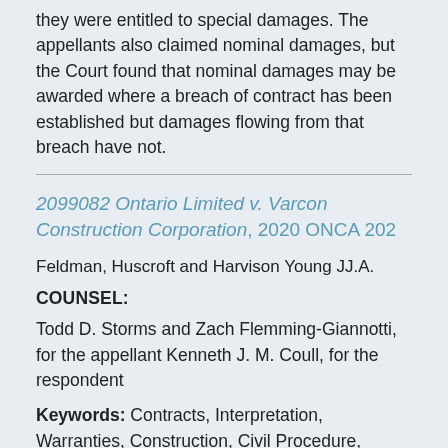they were entitled to special damages. The appellants also claimed nominal damages, but the Court found that nominal damages may be awarded where a breach of contract has been established but damages flowing from that breach have not.
2099082 Ontario Limited v. Varcon Construction Corporation, 2020 ONCA 202
Feldman, Huscroft and Harvison Young JJ.A.
COUNSEL:
Todd D. Storms and Zach Flemming-Giannotti, for the appellant Kenneth J. M. Coull, for the respondent
Keywords: Contracts, Interpretation, Warranties, Construction, Civil Procedure, Appeals, Final or...